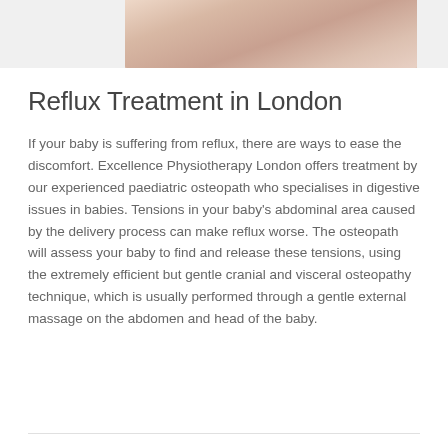[Figure (photo): Close-up photo of a baby's face, partially cropped, showing skin tones of peach and pink.]
Reflux Treatment in London
If your baby is suffering from reflux, there are ways to ease the discomfort. Excellence Physiotherapy London offers treatment by our experienced paediatric osteopath who specialises in digestive issues in babies. Tensions in your baby's abdominal area caused by the delivery process can make reflux worse. The osteopath will assess your baby to find and release these tensions, using the extremely efficient but gentle cranial and visceral osteopathy technique, which is usually performed through a gentle external massage on the abdomen and head of the baby.